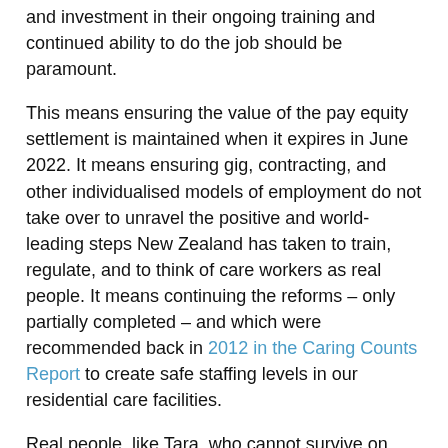and investment in their ongoing training and continued ability to do the job should be paramount.
This means ensuring the value of the pay equity settlement is maintained when it expires in June 2022. It means ensuring gig, contracting, and other individualised models of employment do not take over to unravel the positive and world-leading steps New Zealand has taken to train, regulate, and to think of care workers as real people. It means continuing the reforms – only partially completed – and which were recommended back in 2012 in the Caring Counts Report to create safe staffing levels in our residential care facilities.
Real people, like Tara, who cannot survive on hours that change every week or two, or without security of income, or in an environment where the psychosocial harm associated with the job is as real as the harassment she may face as an individualised worker in a private home.